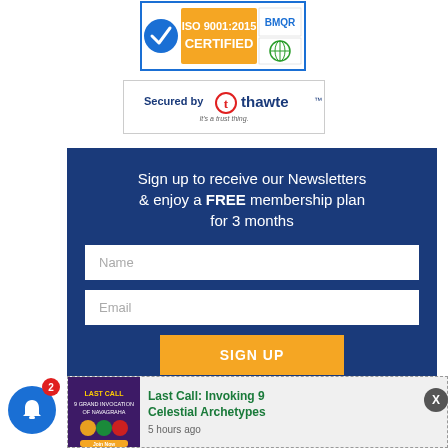[Figure (logo): ISO 9001:2015 Certified badge with BMQR logo and checkmark]
[Figure (logo): Secured by Thawte SSL certificate badge]
Sign up to receive our Newsletters & enjoy a FREE membership plan for 3 months
[Figure (screenshot): Name input field]
[Figure (screenshot): Email input field]
[Figure (screenshot): SIGN UP button in orange]
[Figure (screenshot): Last Call: Invoking 9 Celestial Archetypes notification with image thumbnail, title, and 5 hours ago timestamp]
Last Call: Invoking 9 Celestial Archetypes
5 hours ago